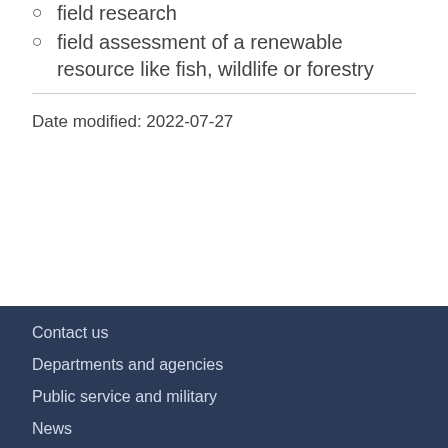field research
field assessment of a renewable resource like fish, wildlife or forestry
Date modified: 2022-07-27
Contact us
Departments and agencies
Public service and military
News